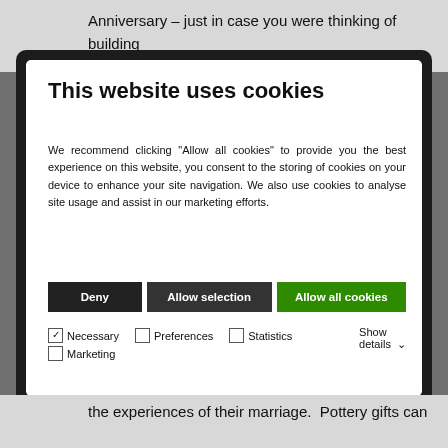Anniversary – just in case you were thinking of building
[Figure (screenshot): Cookie consent modal dialog with title 'This website uses cookies', body text recommending clicking Allow all cookies, three buttons (Deny, Allow selection, Allow all cookies), and checkboxes for Necessary, Preferences, Statistics, Marketing categories with a Show details dropdown.]
the experiences of their marriage. Pottery gifts can include homeware such as mugs or teacups, bowls and vases and also ceramic wall art.
The modern gift for a ninth wedding anniversary is willow.